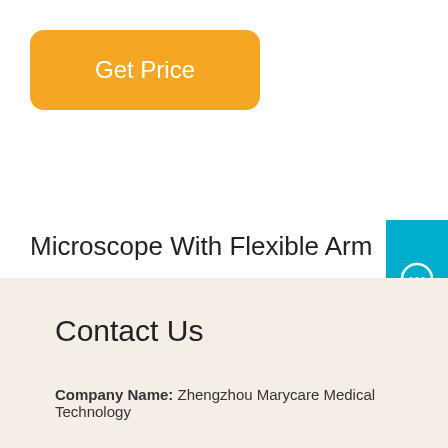[Figure (other): Orange 'Get Price' button at top of page]
Microscope With Flexible Arm -
digital and compound microscope with flexible arm at for research and studies. All kinds of advanced optical microscope with flexible arm are available.
[Figure (other): Orange 'Get Price' button below text]
[Figure (other): Blue Free Chat widget on right side]
Contact Us
Company Name: Zhengzhou Marycare Medical Technology